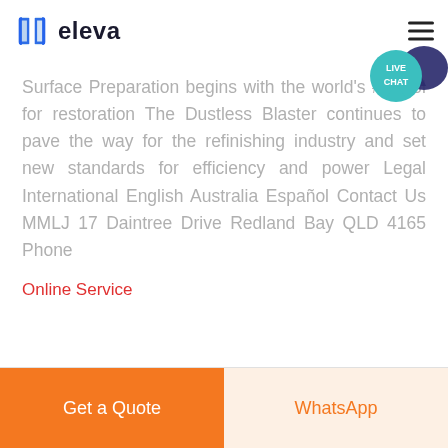eleva
Surface Preparation begins with the world's #1 tool for restoration The Dustless Blaster continues to pave the way for the refinishing industry and set new standards for efficiency and power Legal International English Australia Español Contact Us MMLJ 17 Daintree Drive Redland Bay QLD 4165 Phone
Online Service